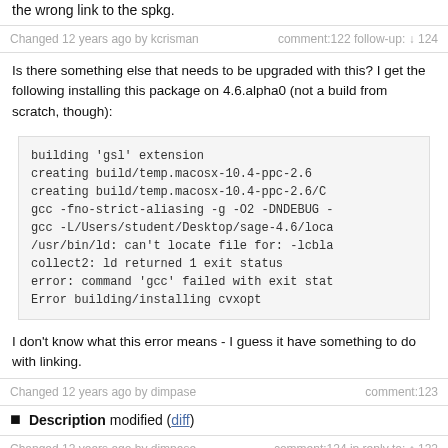the wrong link to the spkg.
Changed 12 years ago by kcrisman    comment:122 follow-up: ↓ 124
Is there something else that needs to be upgraded with this? I get the following installing this package on 4.6.alpha0 (not a build from scratch, though):
[Figure (screenshot): Code block showing build output: building 'gsl' extension, creating build/temp.macosx-10.4-ppc-2.6, creating build/temp.macosx-10.4-ppc-2.6/C, gcc -fno-strict-aliasing -g -O2 -DNDEBUG -, gcc -L/Users/student/Desktop/sage-4.6/loca, /usr/bin/ld: can't locate file for: -lcbla, collect2: ld returned 1 exit status, error: command 'gcc' failed with exit stat, Error building/installing cvxopt]
I don't know what this error means - I guess it have something to do with linking.
Changed 12 years ago by dimpase    comment:123
Description modified (diff)
Changed 12 years ago by dimpase    comment:124 in reply to: ↑ 122
Replying to kcrisman:
Is there something else that needs to be upgraded with this? I